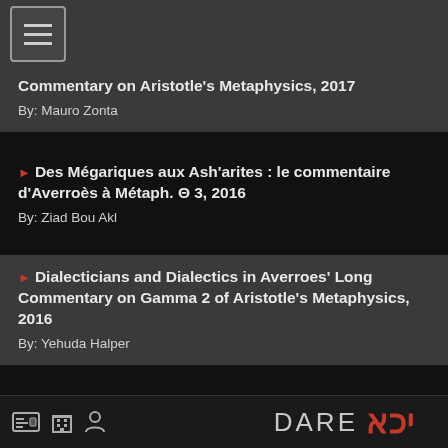Commentary on Aristotle's Metaphysics, 2017 By: Mauro Zonta
Des Mégariques aux Ash'arites : le commentaire d'Averroès à Métaph. Θ 3, 2016 By: Ziad Bou Akl
Dialecticians and Dialectics in Averroes' Long Commentary on Gamma 2 of Aristotle's Metaphysics, 2016 By: Yehuda Halper
Revision and Standardization of Hebrew Philosophical Terminology in the Fourteenth Century: The Example of Averroes's Long
DARE